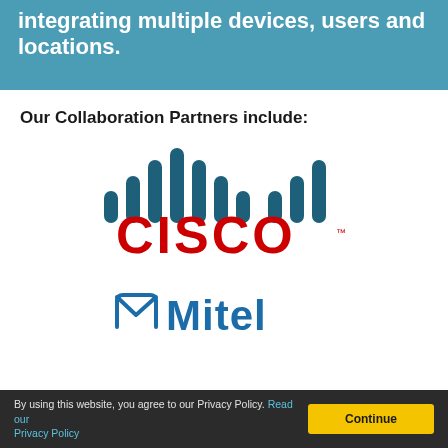integrating multiple devices, users and locations.
Our Collaboration Partners include:
[Figure (logo): Cisco logo with signal bar icon and red CISCO text with trademark symbol]
[Figure (logo): Mitel logo with stylized M icon and Mitel text]
By using this website, you agree to our Privacy Policy. Read our Privacy Policy